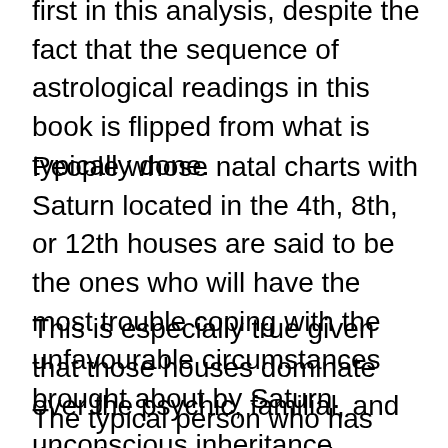first in this analysis, despite the fact that the sequence of astrological readings in this book is flipped from what is typically done.
People whose natal charts with Saturn located in the 4th, 8th, or 12th houses are said to be the ones who will have the most trouble coping with the unfavourable circumstances brought about by Saturn.
This is especially true given that those houses dominate over the psychic, familial, and unconscious inheritance.
The typical person who has this placement may not be aware of the emotional frustration and